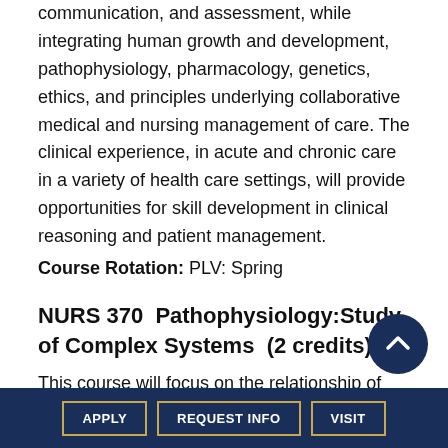communication, and assessment, while integrating human growth and development, pathophysiology, pharmacology, genetics, ethics, and principles underlying collaborative medical and nursing management of care. The clinical experience, in acute and chronic care in a variety of health care settings, will provide opportunities for skill development in clinical reasoning and patient management.
Course Rotation: PLV: Spring
NURS 370  Pathophysiology:Study of Complex Systems  (2 credits)
This course will focus on the relationship of functional changes in the major systems within the
APPLY   REQUEST INFO   VISIT